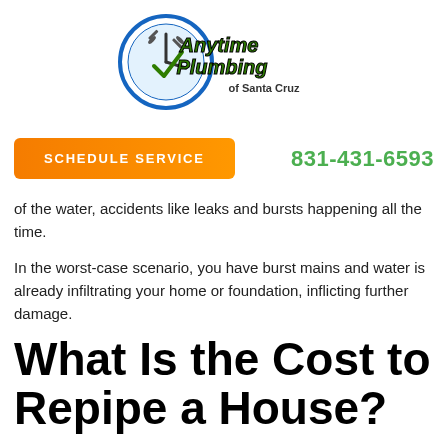[Figure (logo): Anytime Plumbing of Santa Cruz logo with clock icon and green italic text]
SCHEDULE SERVICE
831-431-6593
of the water, accidents like leaks and bursts happening all the time.
In the worst-case scenario, you have burst mains and water is already infiltrating your home or foundation, inflicting further damage.
What Is the Cost to Repipe a House?